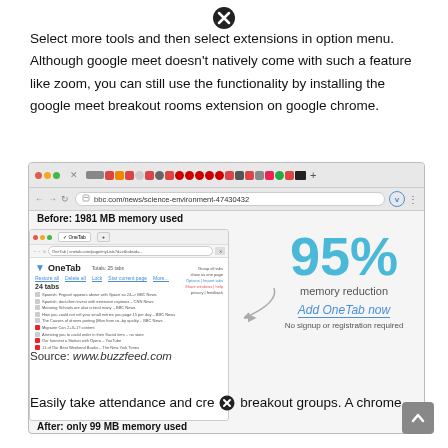[Figure (illustration): Close/remove icon (circled X) at top center]
Select more tools and then select extensions in option menu. Although google meet doesn't natively come with such a feature like zoom, you can still use the functionality by installing the google meet breakout rooms extension on google chrome.
[Figure (screenshot): Screenshot of a Chrome browser window showing bbc.com/news/science-environment-47430432 with a OneTab extension before (1981 MB memory used) and after (only 99 MB memory used) showing 95% memory reduction. Add OneTab now - No signup or registration required.]
Source: www.buzzfeed.com
Easily take attendance and cre breakout groups. A chrome